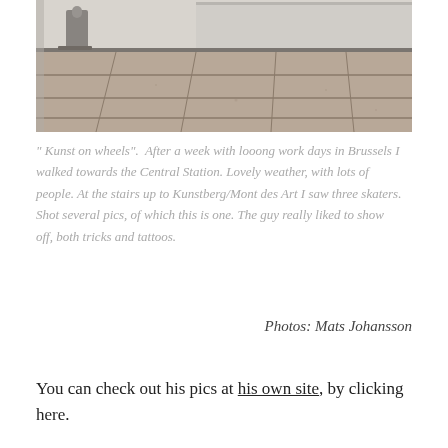[Figure (photo): Black and white photo of a skater at Kunstberg/Mont des Art stairs in Brussels, showing stone pavement tiles and part of a person performing a skateboard trick]
" Kunst on wheels".  After a week with looong work days in Brussels I walked towards the Central Station. Lovely weather, with lots of people. At the stairs up to Kunstberg/Mont des Art I saw three skaters. Shot several pics, of which this is one. The guy really liked to show off, both tricks and tattoos.
Photos: Mats Johansson
You can check out his pics at his own site, by clicking here.